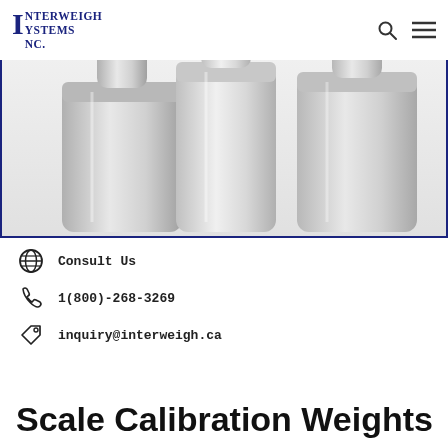Interweigh Systems Inc.
[Figure (photo): Three stainless steel cylindrical scale calibration weights with knob handles on top, arranged side by side against a light background.]
Consult Us
1(800)-268-3269
inquiry@interweigh.ca
Scale Calibration Weights